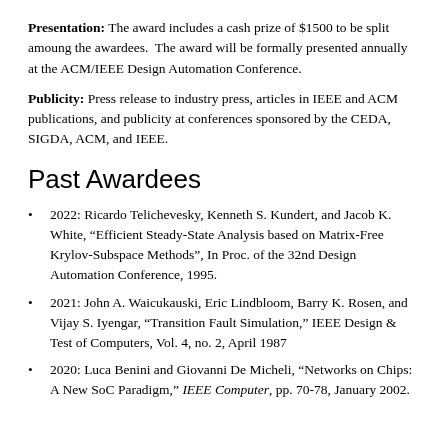Presentation: The award includes a cash prize of $1500 to be split amoung the awardees. The award will be formally presented annually at the ACM/IEEE Design Automation Conference.
Publicity: Press release to industry press, articles in IEEE and ACM publications, and publicity at conferences sponsored by the CEDA, SIGDA, ACM, and IEEE.
Past Awardees
2022: Ricardo Telichevesky, Kenneth S. Kundert, and Jacob K. White, “Efficient Steady-State Analysis based on Matrix-Free Krylov-Subspace Methods”, In Proc. of the 32nd Design Automation Conference, 1995.
2021: John A. Waicukauski, Eric Lindbloom, Barry K. Rosen, and Vijay S. Iyengar, “Transition Fault Simulation,” IEEE Design & Test of Computers, Vol. 4, no. 2, April 1987
2020: Luca Benini and Giovanni De Micheli, “Networks on Chips: A New SoC Paradigm,” IEEE Computer, pp. 70-78, January 2002.